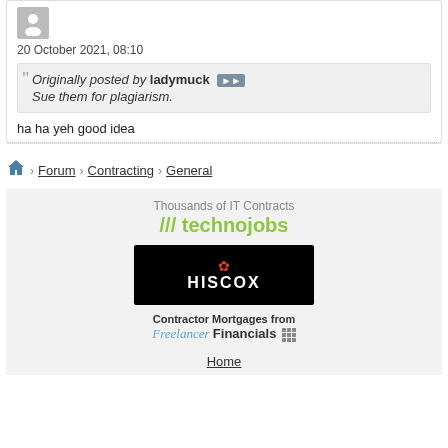20 October 2021, 08:10
Originally posted by ladymuck
Sue them for plagiarism.
ha ha yeh good idea
Home > Forum > Contracting > General
[Figure (logo): technojobs logo with tagline Thousands of IT Contracts]
[Figure (logo): HISCOX logo on black background]
[Figure (logo): Freelancer Financials logo with text Contractor Mortgages from]
Home